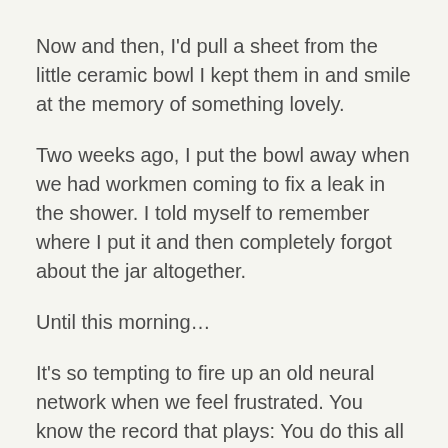Now and then, I'd pull a sheet from the little ceramic bowl I kept them in and smile at the memory of something lovely.
Two weeks ago, I put the bowl away when we had workmen coming to fix a leak in the shower. I told myself to remember where I put it and then completely forgot about the jar altogether.
Until this morning…
It's so tempting to fire up an old neural network when we feel frustrated. You know the record that plays: You do this all the time. You're always forgetting things. You never remember where you put stuff.
But this morning, as I searched for the jar of